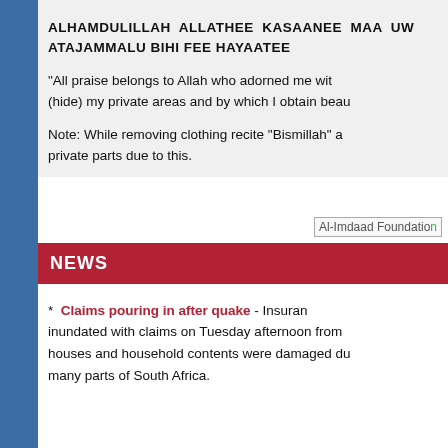ALHAMDULILLAH ALLATHEE KASAANEE MAA UW... ATAJAMMALU BIHI FEE HAYAATEE
"All praise belongs to Allah who adorned me wit... (hide) my private areas and by which I obtain beau...
Note: While removing clothing recite "Bismillah" a... private parts due to this.
[Figure (logo): Al-Imdaad Foundation logo placeholder image]
NEWS
* Claims pouring in after quake - Insuran... inundated with claims on Tuesday afternoon from... houses and household contents were damaged du... many parts of South Africa.